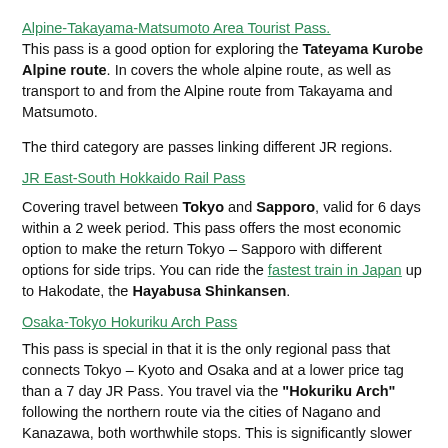Alpine-Takayama-Matsumoto Area Tourist Pass.
This pass is a good option for exploring the Tateyama Kurobe Alpine route. In covers the whole alpine route, as well as transport to and from the Alpine route from Takayama and Matsumoto.
The third category are passes linking different JR regions.
JR East-South Hokkaido Rail Pass
Covering travel between Tokyo and Sapporo, valid for 6 days within a 2 week period. This pass offers the most economic option to make the return Tokyo – Sapporo with different options for side trips. You can ride the fastest train in Japan up to Hakodate, the Hayabusa Shinkansen.
Osaka-Tokyo Hokuriku Arch Pass
This pass is special in that it is the only regional pass that connects Tokyo – Kyoto and Osaka and at a lower price tag than a 7 day JR Pass. You travel via the "Hokuriku Arch" following the northern route via the cities of Nagano and Kanazawa, both worthwhile stops. This is significantly slower than the Tokaido Shinkansen between Tokyo – Kyoto but nevertheless a good option for those who want to save on